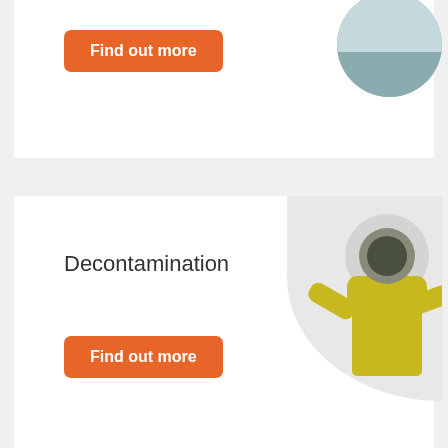[Figure (photo): Circular cropped photo at top right, partially visible, appears to be a landscape or water scene]
Find out more
Decontamination
[Figure (photo): Circular cropped photo of a person in a yellow hazmat suit and gas mask]
Find out more
CONTACT US
Your Name (required)